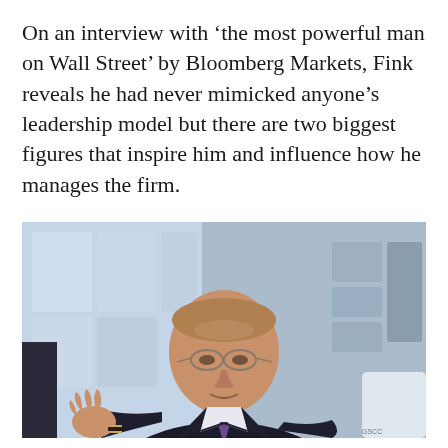On an interview with ‘the most powerful man on Wall Street’ by Bloomberg Markets, Fink reveals he had never mimicked anyone’s leadership model but there are two biggest figures that inspire him and influence how he manages the firm.
[Figure (photo): Photo of Larry Fink, a middle-aged man in a dark suit with a purple tie and glasses, gesturing with his hand while speaking. The background shows a blurred blue-tinted office or conference room setting.]